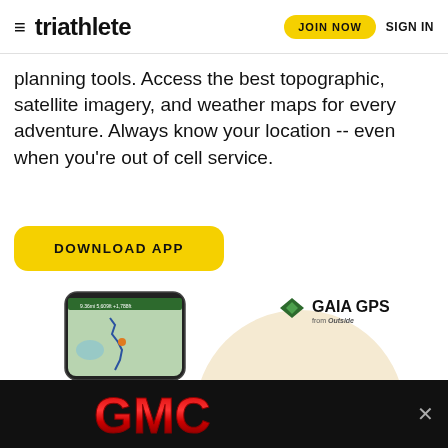triathlete — JOIN NOW   SIGN IN
planning tools. Access the best topographic, satellite imagery, and weather maps for every adventure. Always know your location -- even when you're out of cell service.
DOWNLOAD APP
[Figure (screenshot): Gaia GPS app advertisement showing a smartphone with a topographic map on screen, alongside the GAIA GPS from Outside logo. A beige/cream circle decorative element is in the background.]
[Figure (logo): GMC logo in red and silver lettering on a black banner background with an X close button.]